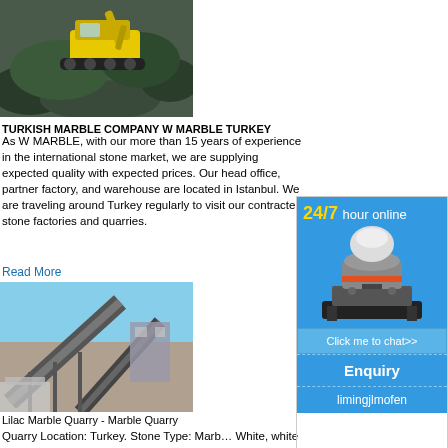[Figure (photo): Photo of yellow excavator/bulldozer working on rocky terrain]
TURKISH MARBLE COMPANY W MARBLE TURKEY
As W MARBLE, with our more than 15 years of experience in the international stone market, we are supplying expected quality with expected prices. Our head office, partner factory, and warehouse are located in Istanbul. We are traveling around Turkey regularly to visit our contracted stone factories and quarries.
Read More
[Figure (photo): Photo of a marble quarry with industrial conveyor belts and machinery]
Lilac Marble Quarry - Marble Quarry
Quarry Location: Turkey. Stone Type: Marble. White, white marble with purple veins. Turk... welcome to buy Marble blocks from Marble...
[Figure (illustration): Advertisement sidebar: 24/7 hour online banner with a cone crusher machine image, Click me to chat>> button, Enquiry section, and limingjlmofen branding]